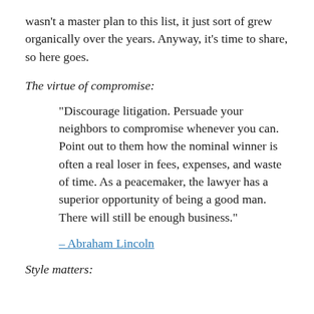wasn't a master plan to this list, it just sort of grew organically over the years. Anyway, it's time to share, so here goes.
The virtue of compromise:
“Discorage litigation. Persuade your neighbors to compromise whenever you can. Point out to them how the nominal winner is often a real loser in fees, expenses, and waste of time. As a peacemaker, the lawyer has a superior opportunity of being a good man. There will still be enough business.”
– Abraham Lincoln
Style matters: